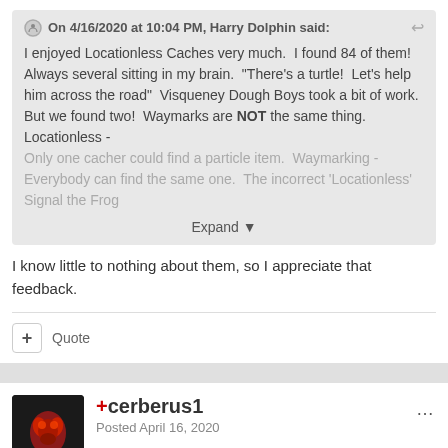On 4/16/2020 at 10:04 PM, Harry Dolphin said:
I enjoyed Locationless Caches very much.  I found 84 of them!  Always several sitting in my brain.  "There's a turtle!  Let's help him across the road"  Visqueney Dough Boys took a bit of work.  But we found two!  Waymarks are NOT the same thing.  Locationless - Only one cacher could find a particle item.  Waymarking - Everybody can find the same one.  The incorrect 'Locationless' Signal the Frog
Expand ▼
I know little to nothing about them, so I appreciate that feedback.
+ Quote
+cerberus1
Posted April 16, 2020